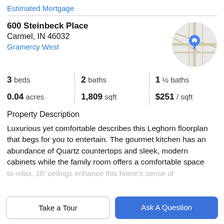Estimated Mortgage
600 Steinbeck Place
Carmel, IN 46032
Gramercy West
[Figure (map): Circular map thumbnail showing street map with blue location pin marker]
| 3 beds | 2 baths | 1 ½ baths |
| 0.04 acres | 1,809 sqft | $251 / sqft |
Property Description
Luxurious yet comfortable describes this Leghorn floorplan that begs for you to entertain. The gourmet kitchen has an abundance of Quartz countertops and sleek, modern cabinets while the family room offers a comfortable space to relax. 10' ceilings enhance this home's sense of
Take a Tour
Ask A Question